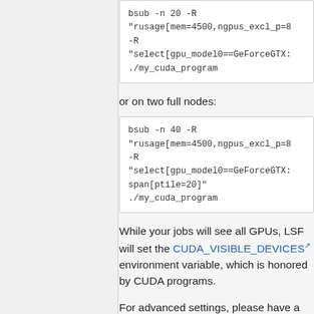bsub -n 20 -R "rusage[mem=4500,ngpus_excl_p=8 -R "select[gpu_model0==GeForceGTX: ./my_cuda_program
or on two full nodes:
bsub -n 40 -R "rusage[mem=4500,ngpus_excl_p=8 -R "select[gpu_model0==GeForceGTX: span[ptile=20]" ./my_cuda_program
While your jobs will see all GPUs, LSF will set the CUDA_VISIBLE_DEVICES environment variable, which is honored by CUDA programs.
For advanced settings, please have a look at our getting started with GPUs